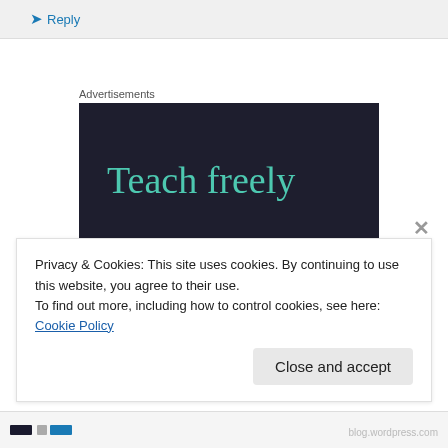Reply
Advertisements
[Figure (other): Dark navy advertisement banner with teal text reading 'Teach freely' and subtitle 'Make money selling online courses.']
Privacy & Cookies: This site uses cookies. By continuing to use this website, you agree to their use.
To find out more, including how to control cookies, see here: Cookie Policy
Close and accept